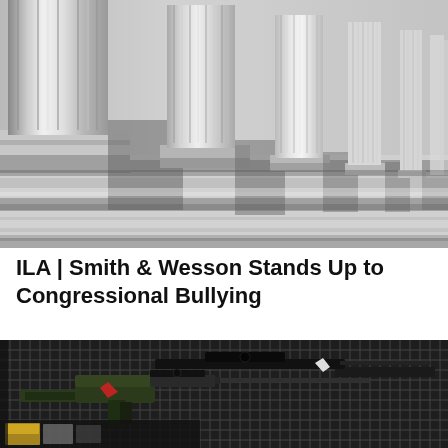[Figure (photo): Photograph of a row of classical white marble columns with fluted shafts and square plinths receding into the distance with strong perspective, shot from a low angle with alternating light and shadow on the steps below.]
ILA | Smith & Wesson Stands Up to Congressional Bullying
[Figure (photo): Black and white photograph of multiple rifles and firearms displayed hanging on a metal grid rack in what appears to be a gun store. Price tags are visible.]